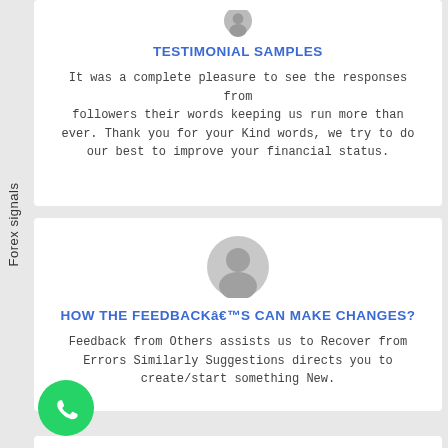Forex signals
[Figure (illustration): Gray avatar/profile silhouette icon at top of first card, partially cropped]
TESTIMONIAL SAMPLES
It was a complete pleasure to see the responses from followers their words keeping us run more than ever. Thank you for your Kind words, we try to do our best to improve your financial status.
[Figure (illustration): Gray avatar/profile silhouette icon centered in second card]
HOW THE FEEDBACKâ€™S CAN MAKE CHANGES?
Feedback from Others assists us to Recover from Errors Similarly Suggestions directs you to create/start something New.
[Figure (logo): Green WhatsApp icon button in bottom left]